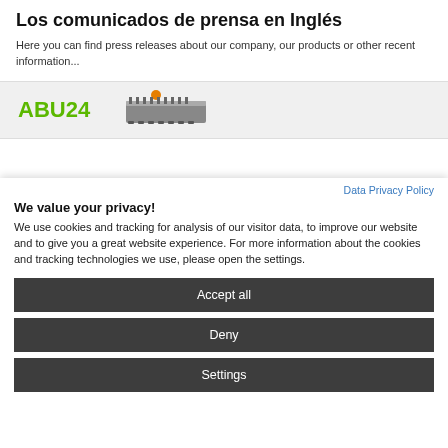Los comunicados de prensa en Inglés
Here you can find press releases about our company, our products or other recent information...
[Figure (logo): ABU24 logo with industrial machine/conveyor image to the right]
Data Privacy Policy
We value your privacy!
We use cookies and tracking for analysis of our visitor data, to improve our website and to give you a great website experience. For more information about the cookies and tracking technologies we use, please open the settings.
Accept all
Deny
Settings